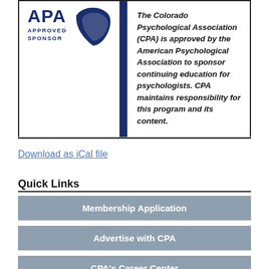[Figure (logo): APA Approved Sponsor logo with blue leaf/ribbon graphic and vertical blue bar]
The Colorado Psychological Association (CPA) is approved by the American Psychological Association to sponsor continuing education for psychologists. CPA maintains responsibility for this program and its content.
Download as iCal file
Quick Links
Membership Application
Advertise with CPA
CPA's Career Center